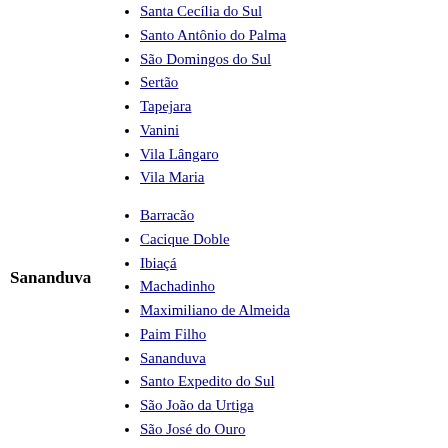Santa Cecília do Sul
Santo Antônio do Palma
São Domingos do Sul
Sertão
Tapejara
Vanini
Vila Lângaro
Vila Maria
Barracão
Cacique Doble
Ibiaçá
Machadinho
Maximiliano de Almeida
Paim Filho
Sananduva
Santo Expedito do Sul
São João da Urtiga
São José do Ouro
Tupanci do Sul
Alecrim
Cândido Godói
Independência
Novo Machado
Porto Lucena
Sananduva